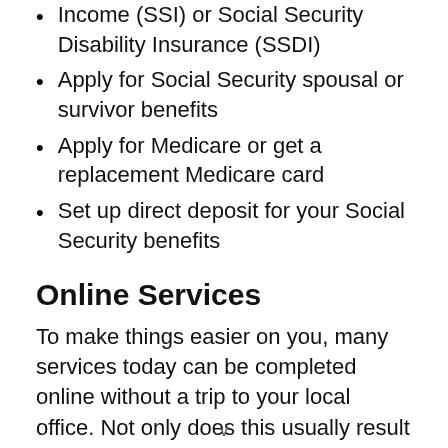Income (SSI) or Social Security Disability Insurance (SSDI)
Apply for Social Security spousal or survivor benefits
Apply for Medicare or get a replacement Medicare card
Set up direct deposit for your Social Security benefits
Online Services
To make things easier on you, many services today can be completed online without a trip to your local office. Not only does this usually result in faster processing of your request, but it also makes things much simpler because you never even have to leave
v